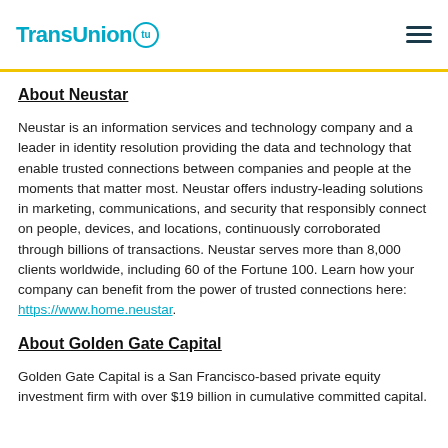TransUnion
About Neustar
Neustar is an information services and technology company and a leader in identity resolution providing the data and technology that enable trusted connections between companies and people at the moments that matter most. Neustar offers industry-leading solutions in marketing, communications, and security that responsibly connect on people, devices, and locations, continuously corroborated through billions of transactions. Neustar serves more than 8,000 clients worldwide, including 60 of the Fortune 100. Learn how your company can benefit from the power of trusted connections here: https://www.home.neustar.
About Golden Gate Capital
Golden Gate Capital is a San Francisco-based private equity investment firm with over $19 billion in cumulative committed capital.